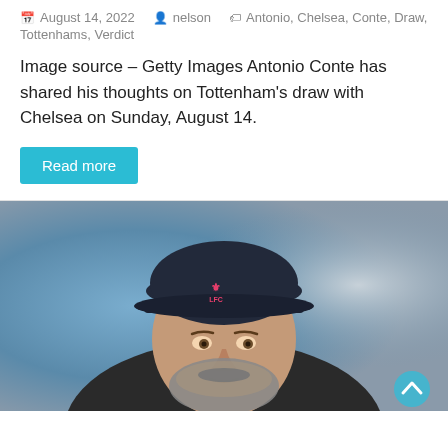August 14, 2022   nelson   Antonio, Chelsea, Conte, Draw, Tottenhams, Verdict
Image source – Getty Images Antonio Conte has shared his thoughts on Tottenham's draw with Chelsea on Sunday, August 14.
Read more
[Figure (photo): Close-up photo of a man wearing a dark navy Liverpool FC baseball cap with pink LFC logo, looking upward with a beard and a concerned expression, blurred blue and grey background.]